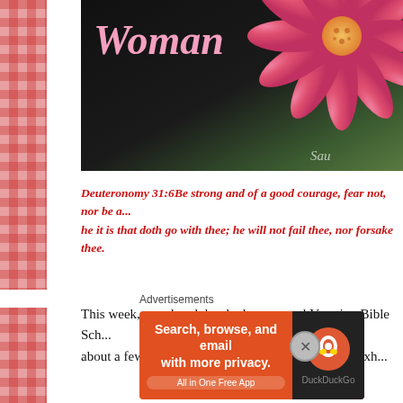[Figure (illustration): Book cover with cursive pink title text 'Woman' on dark background with pink gerbera daisy flower and partial text 'Sau...' at bottom right]
Deuteronomy 31:6Be strong and of a good courage, fear not, nor be a... he it is that doth go with thee; he will not fail thee, nor forsake thee.
This week, our church has had our annual Vacation Bible Sch... about a few of the different character traits that are exh...
Advertisements
[Figure (screenshot): DuckDuckGo advertisement banner: orange background with text 'Search, browse, and email with more privacy. All in One Free App' and DuckDuckGo logo on dark right panel]